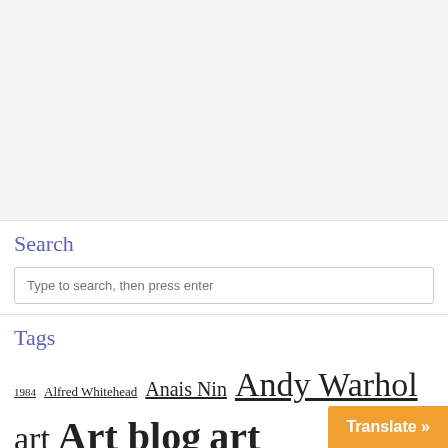Search
Type to search, then press enter
Tags
1984  Alfred Whitehead  Anais Nin  Andy Warhol  art  Art blog  art inspiration  arti...
Translate »